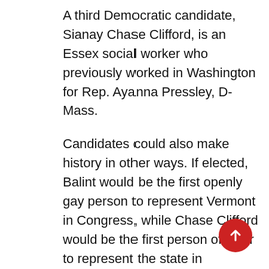A third Democratic candidate, Sianay Chase Clifford, is an Essex social worker who previously worked in Washington for Rep. Ayanna Pressley, D-Mass.
Candidates could also make history in other ways. If elected, Balint would be the first openly gay person to represent Vermont in Congress, while Chase Clifford would be the first person of color to represent the state in Washington.
The GOP candidates listed to run for the House seat are accountant Ericka Redic, who lost a 2020 state Senate race, and Anya Tynio, who ran for the U.S. House in 2018 and lost.
Redic says she will focus on tackling inflation, illegal immigration, drug abuse and government